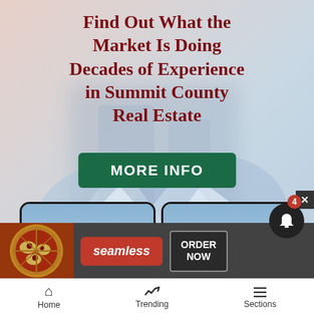[Figure (illustration): Real estate advertisement with two female agents posing in front of mountain/snowy background. Shows a green 'MORE INFO' button and bold dark red text on a soft blurred background.]
Find Out What the Market Is Doing Decades of Experience in Summit County Real Estate
MORE INFO
[Figure (illustration): Bottom banner advertisement for Seamless food delivery showing pizza, 'seamless' logo in red, and 'ORDER NOW' button]
seamless
ORDER NOW
Home  Trending  Sections